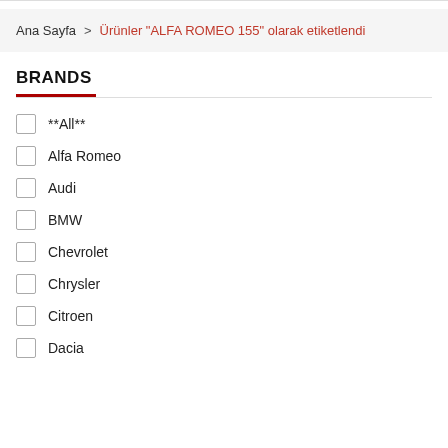Ana Sayfa > Ürünler "ALFA ROMEO 155" olarak etiketlendi
BRANDS
**All**
Alfa Romeo
Audi
BMW
Chevrolet
Chrysler
Citroen
Dacia